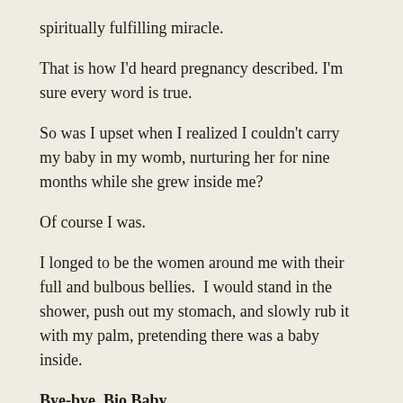spiritually fulfilling miracle.
That is how I'd heard pregnancy described. I'm sure every word is true.
So was I upset when I realized I couldn't carry my baby in my womb, nurturing her for nine months while she grew inside me?
Of course I was.
I longed to be the women around me with their full and bulbous bellies.  I would stand in the shower, push out my stomach, and slowly rub it with my palm, pretending there was a baby inside.
Bye-bye, Bio Baby
After accepting that I would not carry my child, we